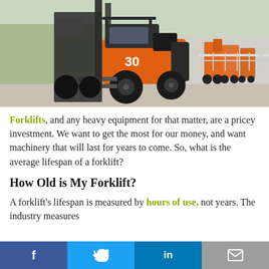[Figure (photo): Row of forklifts parked outside a warehouse; the foreground features a large orange and black forklift with number 30 on it.]
Forklifts, and any heavy equipment for that matter, are a pricey investment. We want to get the most for our money, and want machinery that will last for years to come. So, what is the average lifespan of a forklift?
How Old is My Forklift?
A forklift's lifespan is measured by hours of use, not years. The industry measures
Facebook  Twitter  LinkedIn  Email